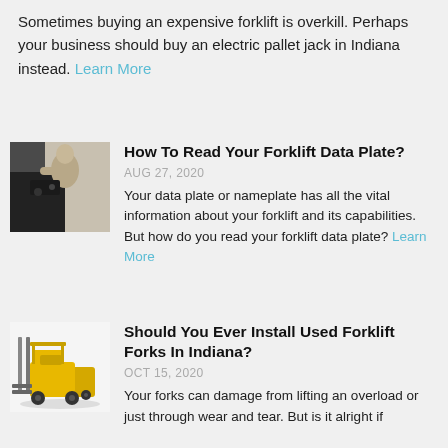Sometimes buying an expensive forklift is overkill. Perhaps your business should buy an electric pallet jack in Indiana instead. Learn More
[Figure (photo): A person operating or examining a forklift, shown from side angle, dark background]
How To Read Your Forklift Data Plate?
AUG 27, 2020
Your data plate or nameplate has all the vital information about your forklift and its capabilities. But how do you read your forklift data plate? Learn More
[Figure (photo): A yellow forklift on a white/light background]
Should You Ever Install Used Forklift Forks In Indiana?
OCT 15, 2020
Your forks can damage from lifting an overload or just through wear and tear. But is it alright if